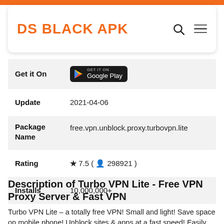DS BLACK APK
| Field | Value |
| --- | --- |
| Get it On | Google Play |
| Update | 2021-04-06 |
| Package Name | free.vpn.unblock.proxy.turbovpn.lite |
| Rating | ★ 7.5 ( 👤 298921 ) |
| Installs | 10,000,000+ |
Description of Turbo VPN Lite - Free VPN Proxy Server & Fast VPN
Turbo VPN Lite – a totally free VPN! Small and light! Save space on mobile phone! Unblock sites & apps at a fast speed! Easily download! Protect your privacy and WiFi hotspot security!